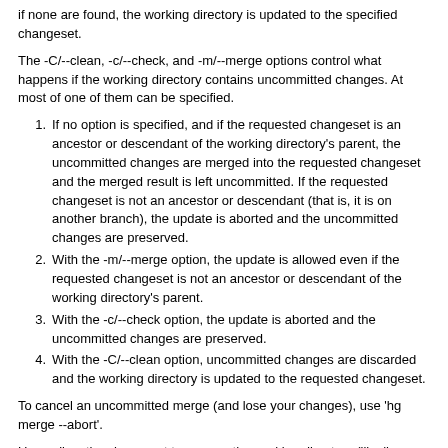if none are found, the working directory is updated to the specified changeset.
The -C/--clean, -c/--check, and -m/--merge options control what happens if the working directory contains uncommitted changes. At most of one of them can be specified.
1. If no option is specified, and if the requested changeset is an ancestor or descendant of the working directory's parent, the uncommitted changes are merged into the requested changeset and the merged result is left uncommitted. If the requested changeset is not an ancestor or descendant (that is, it is on another branch), the update is aborted and the uncommitted changes are preserved.
2. With the -m/--merge option, the update is allowed even if the requested changeset is not an ancestor or descendant of the working directory's parent.
3. With the -c/--check option, the update is aborted and the uncommitted changes are preserved.
4. With the -C/--clean option, uncommitted changes are discarded and the working directory is updated to the requested changeset.
To cancel an uncommitted merge (and lose your changes), use 'hg merge --abort'.
Use null as the changeset to remove the working directory (like 'hg clone -U').
If you want to revert just one file to an older revision, use 'hg revert [-r REV] NAME'.
See 'hg help dates' for a list of formats valid for -d/--date.
Returns 0 on success, 1 if there are unresolved files.